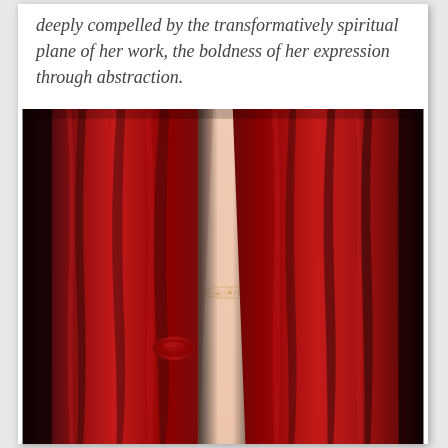deeply compelled by the transformatively spiritual plane of her work, the boldness of her expression through abstraction.
[Figure (photo): A photograph showing deep red velvet curtains partially parted, revealing a person's torso wearing a delicate lace or jeweled accessory around the waist/midsection.]